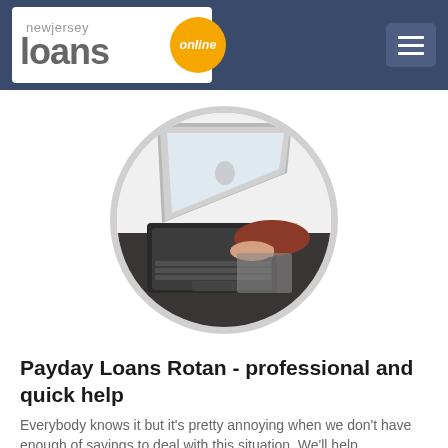newjersey loans online
[Figure (photo): Person using a MacBook laptop on a dark desk with a cup of coffee nearby, photo displayed inside a circular frame with grey border]
Payday Loans Rotan - professional and quick help
Everybody knows it but it's pretty annoying when we don't have enough of savings to deal with this situation. We'll help